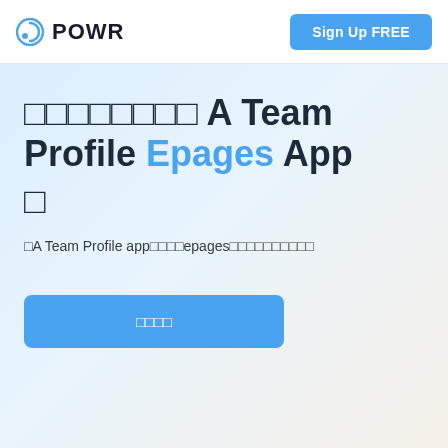POWR | Sign Up FREE
⬜⬜⬜⬜⬜⬜⬜⬜ A Team Profile Epages App ⬜
⬜A Team Profile app⬜⬜⬜⬜epages⬜⬜⬜⬜⬜⬜⬜⬜⬜⬜
⬜⬜⬜⬜